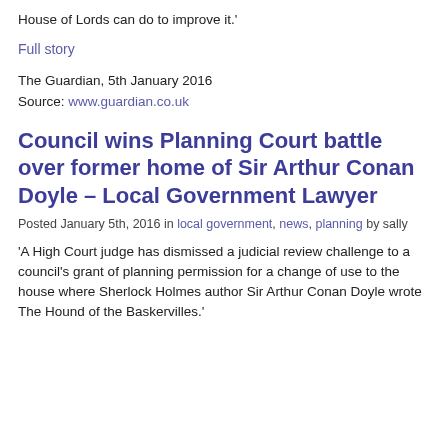House of Lords can do to improve it.'
Full story
The Guardian, 5th January 2016
Source: www.guardian.co.uk
Council wins Planning Court battle over former home of Sir Arthur Conan Doyle – Local Government Lawyer
Posted January 5th, 2016 in local government, news, planning by sally
'A High Court judge has dismissed a judicial review challenge to a council's grant of planning permission for a change of use to the house where Sherlock Holmes author Sir Arthur Conan Doyle wrote The Hound of the Baskervilles.'